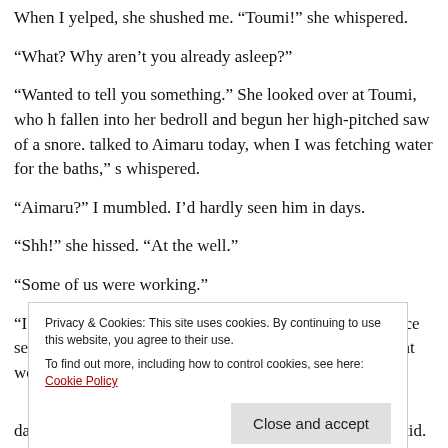When I yelped, she shushed me. “Toumi!” she whispered.
“What? Why aren’t you already asleep?”
“Wanted to tell you something.” She looked over at Toumi, who h... fallen into her bedroll and begun her high-pitched saw of a snore. talked to Aimaru today, when I was fetching water for the baths,” s whispered.
“Aimaru?” I mumbled. I’d hardly seen him in days.
“Shh!” she hissed. “At the well.”
“Some of us were working.”
“I was working.” It was hard to tell in the dark, but her face seem to get darker. “He said that Masugu-san told him that women w...
daughters. Masugu-san lived with them for a while as a kid.